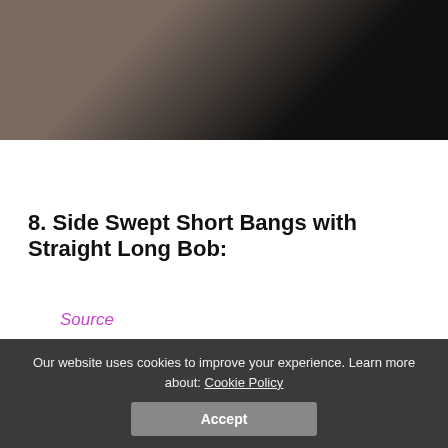[Figure (photo): Top portion of a photo showing a person in a dark top, cropped at mid-section. Dark background.]
Source
8. Side Swept Short Bangs with Straight Long Bob:
[Figure (photo): Photo of a woman with side-swept blonde bangs and a straight long bob hairstyle. A share button overlay is visible in the top right corner of the image.]
Our website uses cookies to improve your experience. Learn more about: Cookie Policy
Accept